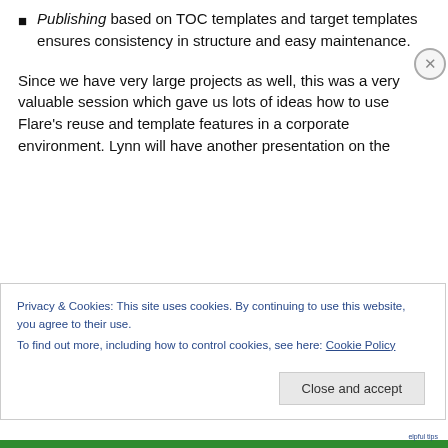Publishing based on TOC templates and target templates ensures consistency in structure and easy maintenance.
Since we have very large projects as well, this was a very valuable session which gave us lots of ideas how to use Flare's reuse and template features in a corporate environment. Lynn will have another presentation on the
Privacy & Cookies: This site uses cookies. By continuing to use this website, you agree to their use.
To find out more, including how to control cookies, see here: Cookie Policy